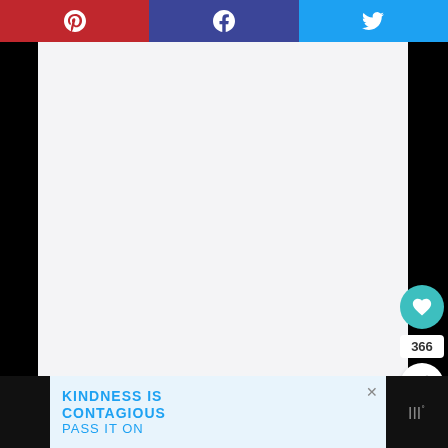[Figure (screenshot): Social sharing toolbar with Pinterest (red), Facebook (dark blue), and Twitter (light blue) buttons with icons]
[Figure (screenshot): Main content area with light gray background, appears mostly blank/loading]
[Figure (infographic): Teal heart/like button with count 366 and share button]
366
[Figure (screenshot): What's Next panel showing 'WHAT'S NEXT → 12 Fantastic Secrets Of...' with a thumbnail of red lips]
WHAT'S NEXT → 12 Fantastic Secrets Of...
[Figure (logo): WOO logo with superscript degree symbol]
KINDNESS IS CONTAGIOUS PASS IT ON
[Figure (logo): WOO logo bottom right]